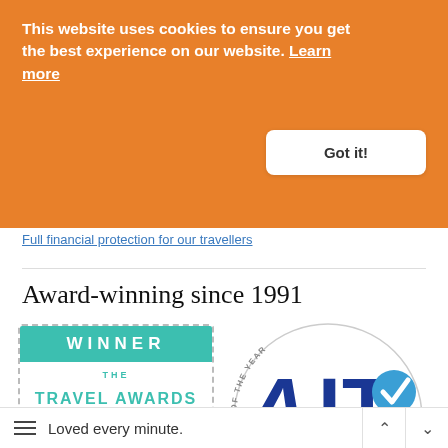This website uses cookies to ensure you get the best experience on our website. Learn more
Got it!
Full financial protection for our travellers
Award-winning since 1991
[Figure (logo): The Travel Awards 2017 Winner badge - The Times Travel Editor's Award]
[Figure (logo): AITO Silver Award 2017 - Tour Operator of the Year]
Loved every minute.